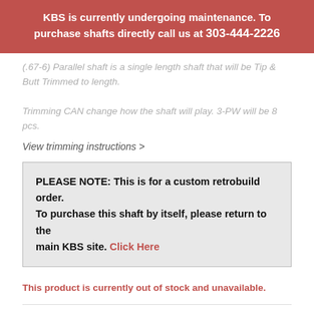KBS is currently undergoing maintenance. To purchase shafts directly call us at 303-444-2226
(.67-6) Parallel shaft is a single length shaft that will be Tip & Butt Trimmed to length.
Trimming CAN change how the shaft will play. 3-PW will be 8 pcs.
View trimming instructions >
PLEASE NOTE: This is for a custom retrobuild order. To purchase this shaft by itself, please return to the main KBS site. Click Here
This product is currently out of stock and unavailable.